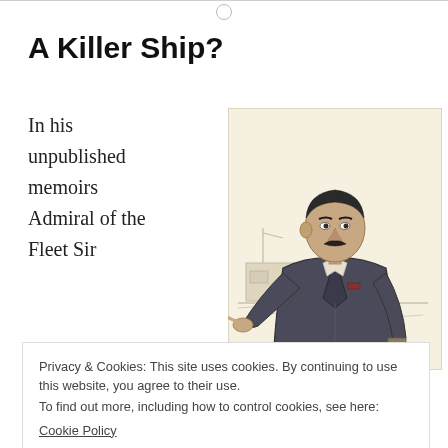A Killer Ship?
In his unpublished memoirs Admiral of the Fleet Sir
[Figure (illustration): Sketch/charcoal illustration of a mustachioed military officer in uniform, pointing, with ships in the background.]
Privacy & Cookies: This site uses cookies. By continuing to use this website, you agree to their use.
To find out more, including how to control cookies, see here:
Cookie Policy
[Close and accept button]
Oliver during the Great War.